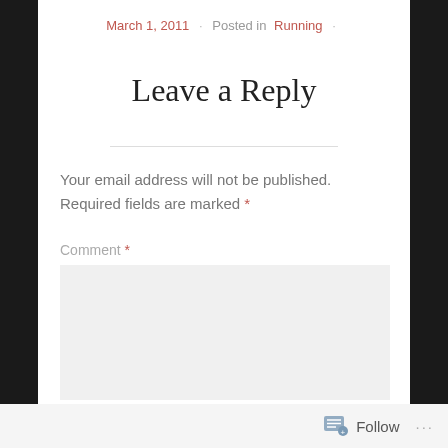March 1, 2011 · Posted in Running ·
Leave a Reply
Your email address will not be published. Required fields are marked *
Comment *
Follow ...